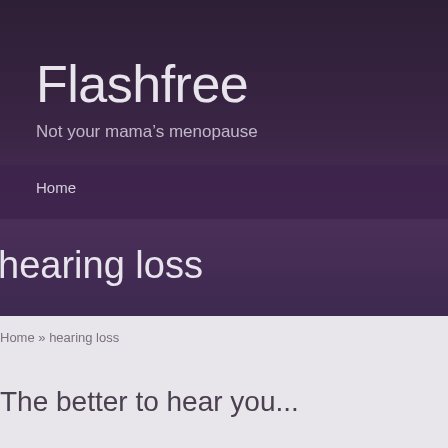Flashfree
Not your mama’s menopause
Home
hearing loss
Home » hearing loss
The better to hear you...